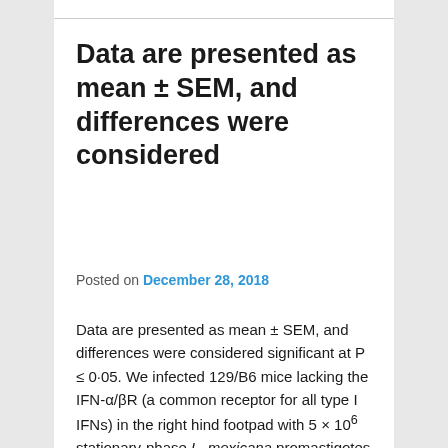Data are presented as mean ± SEM, and differences were considered
Posted on December 28, 2018
Data are presented as mean ± SEM, and differences were considered significant at P ≤ 0·05. We infected 129/B6 mice lacking the IFN-α/βR (a common receptor for all type I IFNs) in the right hind footpad with 5 × 106 stationary-phase L. mexicana promastigotes and followed the course of lesion progression alongside infected WT 129/B6 mice (Figure 1a). The course of lesion development was not significantly different in IFN-α/βR see more KO and WT mice, with lesion sizes plateauing around 10–15 weeks post-infection. Parasite loads at 4, 12 and 23 weeks post-infection were